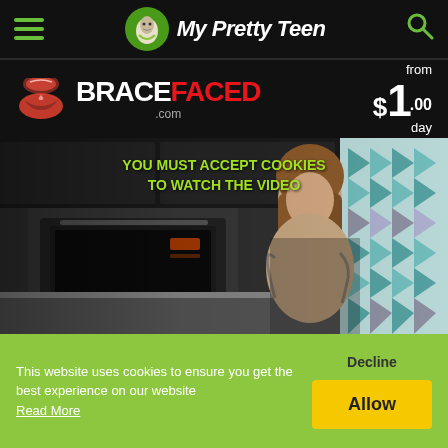My Pretty Teen
[Figure (screenshot): BraceFaced.com advertisement banner with lips logo, white and red text, and 'from $1.00 day' pricing]
[Figure (photo): Video thumbnail showing a tattooed woman in a kitchen setting. Overlay text: YOU MUST ACCEPT COOKIES TO WATCH THE VIDEO]
This website uses cookies to ensure you get the best experience on our website Read More
Decline
Allow